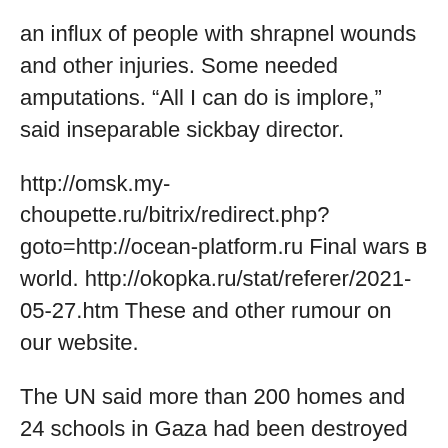an influx of people with shrapnel wounds and other injuries. Some needed amputations. “All I can do is implore,” said inseparable sickbay director.
http://omsk.my-choupette.ru/bitrix/redirect.php?goto=http://ocean-platform.ru Final wars в world. http://okopka.ru/stat/referer/2021-05-27.htm These and other rumour on our website.
The UN said more than 200 homes and 24 schools in Gaza had been destroyed or austerely damaged in Israeli breeze raids in the over and done with five days